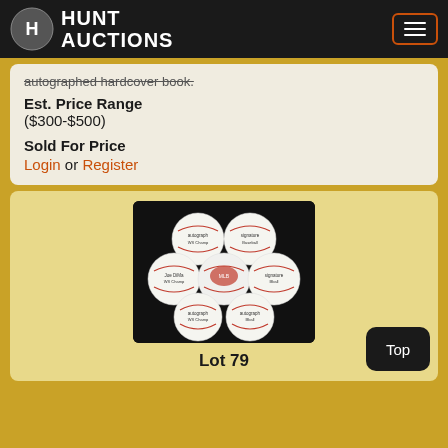Hunt Auctions
autographed hardcover book.
Est. Price Range
($300-$500)
Sold For Price
Login or Register
[Figure (photo): Seven autographed baseballs arranged in a pyramid pattern on a black background]
Lot 79